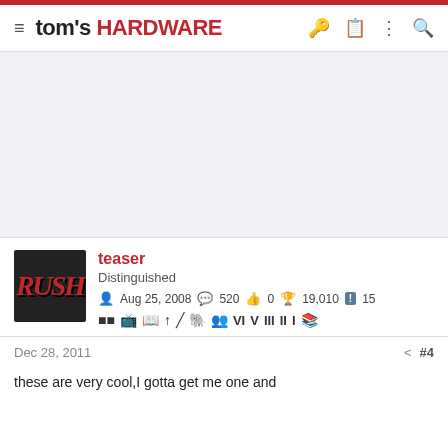tom's HARDWARE
[Figure (other): Advertisement placeholder area, light gray background]
teaser
Distinguished
Aug 25, 2008  520  0  19,010  15
Dec 28, 2011  #4
these are very cool,I gotta get me one and